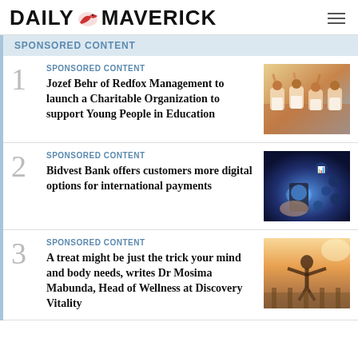DAILY MAVERICK
SPONSORED CONTENT
1 SPONSORED CONTENT
Jozef Behr of Redfox Management to launch a Charitable Organization to support Young People in Education
2 SPONSORED CONTENT
Bidvest Bank offers customers more digital options for international payments
3 SPONSORED CONTENT
A treat might be just the trick your mind and body needs, writes Dr Mosima Mabunda, Head of Wellness at Discovery Vitality